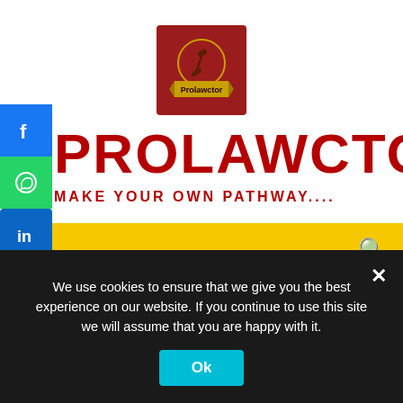[Figure (logo): Prolawctor logo: dark red square background with a golden circle containing a gavel icon and 'Prolawctor' text on a gold banner]
PROLAWCTOR
MAKE YOUR OWN PATHWAY....
[Figure (other): Yellow navigation bar with a search icon on the right]
[Figure (other): Social media share icons: Facebook, WhatsApp, LinkedIn, Telegram, More (+)]
We use cookies to ensure that we give you the best experience on our website. If you continue to use this site we will assume that you are happy with it.